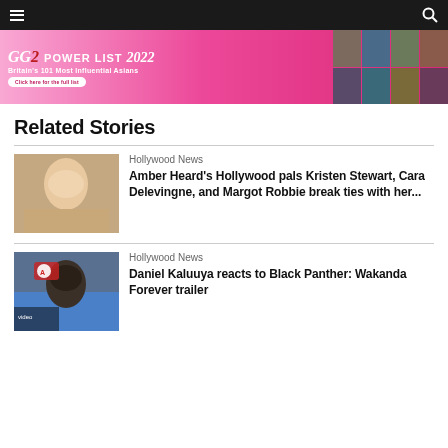Navigation bar with menu and search icons
[Figure (infographic): GG2 Power List 2022 banner — Britain's 101 Most Influential Asians. Pink background with photos of influential people on the right.]
Related Stories
Hollywood News
Amber Heard's Hollywood pals Kristen Stewart, Cara Delevingne, and Margot Robbie break ties with her...
Hollywood News
Daniel Kaluuya reacts to Black Panther: Wakanda Forever trailer